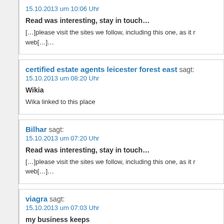15.10.2013 um 10:06 Uhr
Read was interesting, stay in touch…
[…]please visit the sites we follow, including this one, as it represents our picks from the web[…]…
certified estate agents leicester forest east sagt: 15.10.2013 um 08:20 Uhr
Wikia
Wika linked to this place
Bilhar sagt: 15.10.2013 um 07:20 Uhr
Read was interesting, stay in touch…
[…]please visit the sites we follow, including this one, as it represents our picks from the web[…]…
viagra sagt: 15.10.2013 um 07:03 Uhr
my business keeps